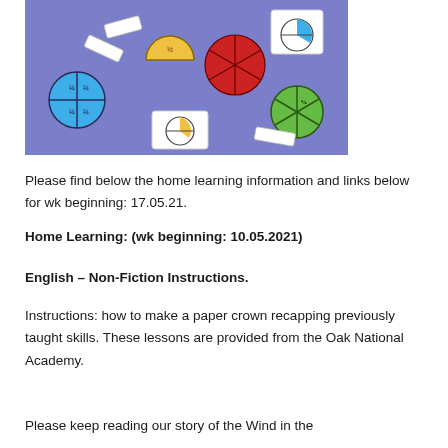[Figure (photo): Photograph of colorful fraction circle manipulatives (blue, yellow, red, green) scattered on a purple/blue background, alongside white fraction diagram cards.]
Please find below the home learning information and links below for wk beginning: 17.05.21.
Home Learning: (wk beginning: 10.05.2021)
English – Non-Fiction Instructions.
Instructions: how to make a paper crown recapping previously taught skills. These lessons are provided from the Oak National Academy.
Please keep reading our story of the Wind in the